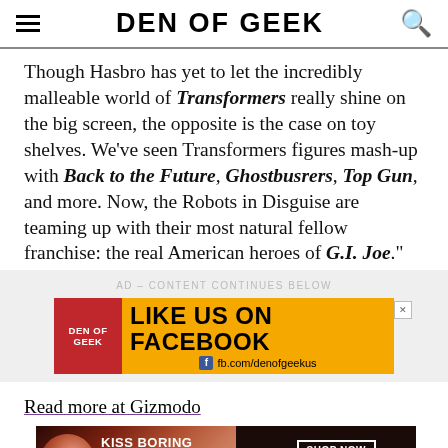DEN OF GEEK
Though Hasbro has yet to let the incredibly malleable world of Transformers really shine on the big screen, the opposite is the case on toy shelves. We've seen Transformers figures mash-up with Back to the Future, Ghostbusrers, Top Gun, and more. Now, the Robots in Disguise are teaming up with their most natural fellow franchise: the real American heroes of G.I. Joe."
AD – CONTENT CONTINUES BELOW
[Figure (other): Den of Geek Facebook advertisement banner: red Den of Geek logo section, yellow area with LIKE US ON FACEBOOK text and fb.com/denofgeekus URL]
Read more at Gizmodo
[Figure (photo): Macy's bottom advertisement: woman with red lips, KISS BORING LIPS GOODBYE text, SHOP NOW button, and Macy's star logo]